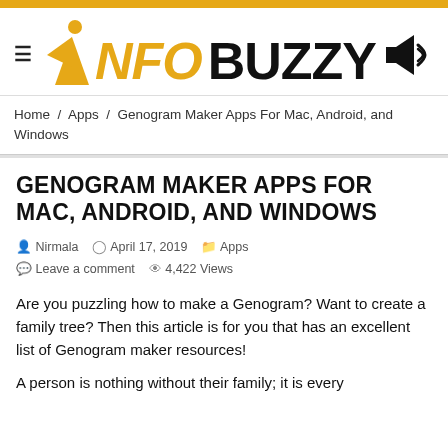[Figure (logo): InfoBuzzy website logo with yellow italic 'INFO' text, bold black 'BUZZY' text, a yellow figure/arrow icon, and a megaphone icon]
Home / Apps / Genogram Maker Apps For Mac, Android, and Windows
GENOGRAM MAKER APPS FOR MAC, ANDROID, AND WINDOWS
Nirmala   April 17, 2019   Apps   Leave a comment   4,422 Views
Are you puzzling how to make a Genogram? Want to create a family tree? Then this article is for you that has an excellent list of Genogram maker resources!
A person is nothing without their family; it is every